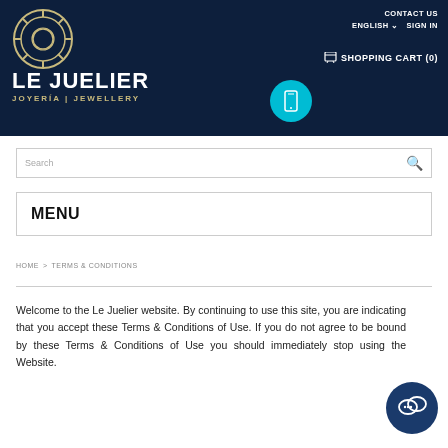[Figure (logo): Le Juelier jewelry store logo on dark navy background with decorative circular emblem, brand name LE JUELIER and tagline JOYERÍA | JEWELLERY]
CONTACT US
ENGLISH ˅  SIGN IN
🛒 SHOPPING CART (0)
Search
MENU
HOME > TERMS & CONDITIONS
Welcome to the Le Juelier website. By continuing to use this site, you are indicating that you accept these Terms & Conditions of Use. If you do not agree to be bound by these Terms & Conditions of Use you should immediately stop using the Website.